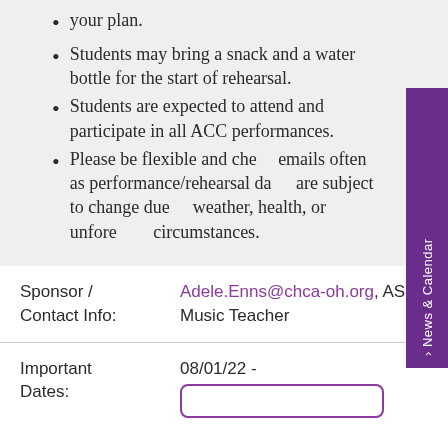your plan.
Students may bring a snack and a water bottle for the start of rehearsal.
Students are expected to attend and participate in all ACC performances.
Please be flexible and check emails often as performance/rehearsal dates are subject to change due to weather, health, or unforeseen circumstances.
Sponsor / Contact Info: Adele.Enns@chca-oh.org, AS Music Teacher
Important Dates: 08/01/22 -